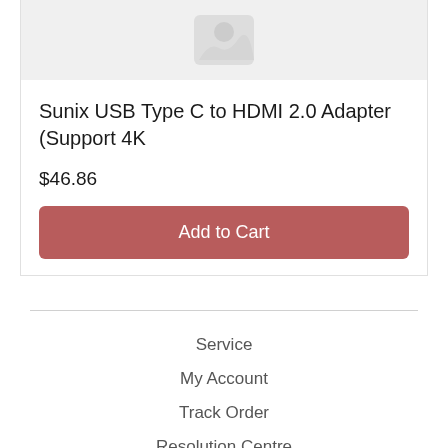[Figure (photo): Product placeholder image area with a grey background and a generic image icon]
Sunix USB Type C to HDMI 2.0 Adapter (Support 4K
$46.86
Add to Cart
Service
My Account
Track Order
Resolution Centre
About Us